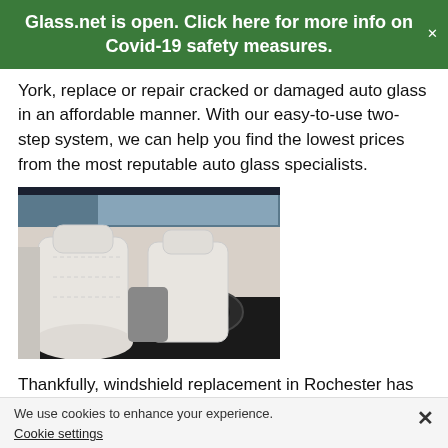Glass.net is open. Click here for more info on Covid-19 safety measures.
York, replace or repair cracked or damaged auto glass in an affordable manner. With our easy-to-use two-step system, we can help you find the lowest prices from the most reputable auto glass specialists.
[Figure (photo): Interior view of a luxury car showing white leather seats and dashboard, photographed through the open door from outside.]
Thankfully, windshield replacement in Rochester has never been easier for you as a Rochester resident. And it's a good thing too, because a cracked or damaged windshield can be dangerous for both you and your passengers. Even more, it's entirely possible that driving with a damaged windshield in New York is against the law.
We use cookies to enhance your experience. Cookie settings